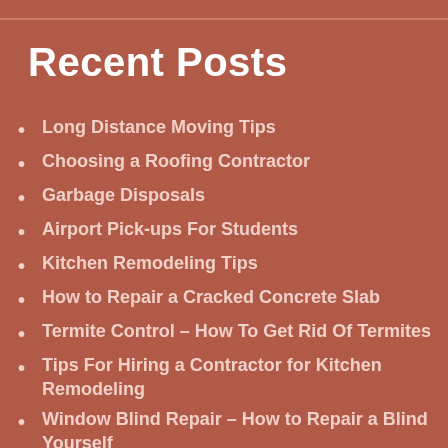Recent Posts
Long Distance Moving Tips
Choosing a Roofing Contractor
Garbage Disposals
Airport Pick-ups For Students
Kitchen Remodeling Tips
How to Repair a Cracked Concrete Slab
Termite Control – How To Get Rid Of Termites
Tips For Hiring a Contractor for Kitchen Remodeling
Window Blind Repair – How to Repair a Blind Yourself
The Importance of Home Inspections